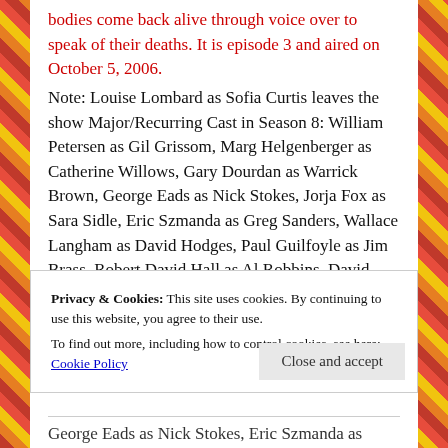bodies come back alive through voice over to speak of their deaths. It is episode 3 and aired on October 5, 2006.
Note: Louise Lombard as Sofia Curtis leaves the show Major/Recurring Cast in Season 8: William Petersen as Gil Grissom, Marg Helgenberger as Catherine Willows, Gary Dourdan as Warrick Brown, George Eads as Nick Stokes, Jorja Fox as Sara Sidle, Eric Szmanda as Greg Sanders, Wallace Langham as David Hodges, Paul Guilfoyle as Jim Brass, Robert David Hall as Al Robbins, David Berman as David Phillips, Liz Vassey as Wendy Simms, Archie Kao as Archie Johnson, Sheeri Rappaport...
Privacy & Cookies: This site uses cookies. By continuing to use this website, you agree to their use.
To find out more, including how to control cookies, see here: Cookie Policy
George Eads as Nick Stokes, Eric Szmanda as Greg...